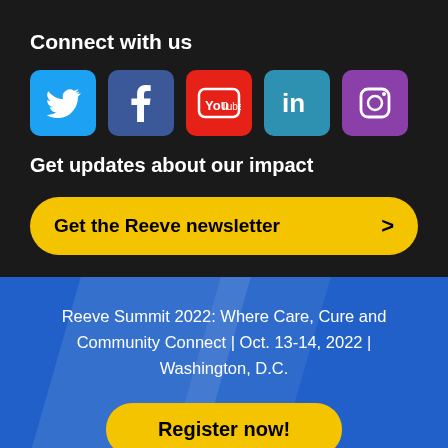Connect with us
[Figure (infographic): Five social media icons in rounded square buttons: Twitter (blue), Facebook (dark blue), YouTube (red), LinkedIn (teal blue), Instagram (purple)]
Get updates about our impact
Get the Reeve newsletter >
Reeve Summit 2022: Where Care, Cure and Community Connect | Oct. 13-14, 2022 | Washington, D.C.
Register now!